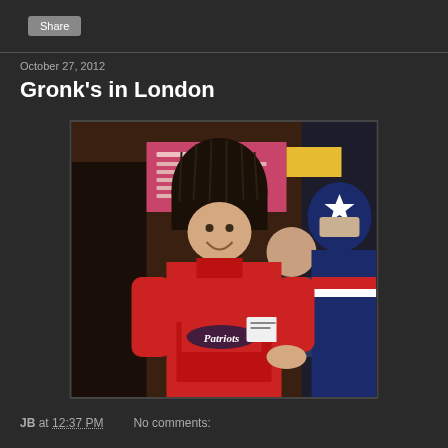Share
October 27, 2012
Gronk's in London
[Figure (photo): A man wearing a large black fur hat (British Queen's Guard style) and a red New England Patriots hoodie smiles and holds up a card. Beside him is a person in a Patriots mascot costume (navy blue uniform with star). In the background is a pink sign and a woman wearing a Patriots jersey.]
JB at 12:37 PM   No comments: